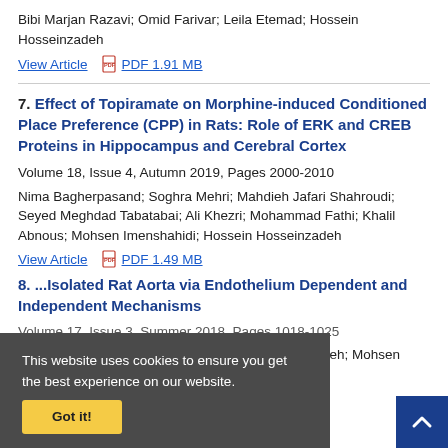Bibi Marjan Razavi; Omid Farivar; Leila Etemad; Hossein Hosseinzadeh
View Article   PDF 1.91 MB
7. Effect of Topiramate on Morphine-induced Conditioned Place Preference (CPP) in Rats: Role of ERK and CREB Proteins in Hippocampus and Cerebral Cortex
Volume 18, Issue 4, Autumn 2019, Pages 2000-2010
Nima Bagherpasand; Soghra Mehri; Mahdieh Jafari Shahroudi; Seyed Meghdad Tabatabai; Ali Khezri; Mohammad Fathi; Khalil Abnous; Mohsen Imenshahidi; Hossein Hosseinzadeh
View Article   PDF 1.49 MB
8. ... Isolated Rat Aorta via Endothelium Dependent and Independent Mechanisms
Volume 17, Issue 3, Summer 2018, Pages 1018-1025
Bibi Marjan Razavi; Ali Alyasin; Hossein Hosseinzadeh; Mohsen Imenshahidi